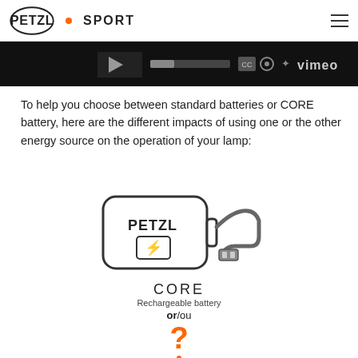PETZL • SPORT
[Figure (screenshot): Dark video player bar with Vimeo controls]
To help you choose between standard batteries or CORE battery, here are the different impacts of using one or the other energy source on the operation of your lamp:
[Figure (illustration): Illustration of CORE rechargeable battery with USB cable connector, labeled PETZL with charging icon]
CORE
Rechargeable battery
or/ou
[Figure (illustration): Orange question mark above a standard AA battery illustration]